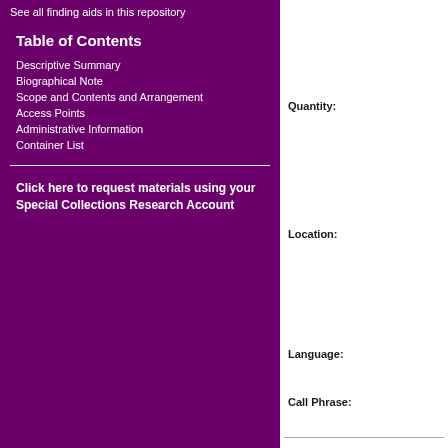See all finding aids in this repository
Table of Contents
Descriptive Summary
Biographical Note
Scope and Contents and Arrangement
Access Points
Administrative Information
Container List
Click here to request materials using your Special Collections Research Account
Quantity:
Location:
Language:
Call Phrase: